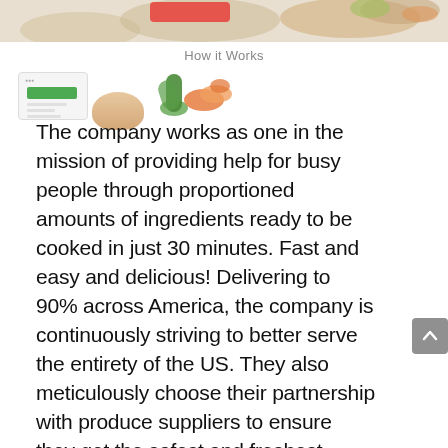[Figure (photo): Top banner image showing food ingredients and a meal kit service interface]
How it Works
[Figure (screenshot): Row of icons showing a meal planning app screenshot, food items, and fresh vegetables]
The company works as one in the mission of providing help for busy people through proportioned amounts of ingredients ready to be cooked in just 30 minutes. Fast and easy and delicious!  Delivering to 90% across America, the company is continuously striving to better serve the entirety of the US. They also meticulously choose their partnership with produce suppliers to ensure they get the safest and freshest ingredients delivery straight to your doorstep.  The number shows how many home chefs have already been created as they have delivered a staggering shipment of more than 2.5 million meals for the first quarter of 2017 alone. Keep reading our honest Home Chef review to learn more.